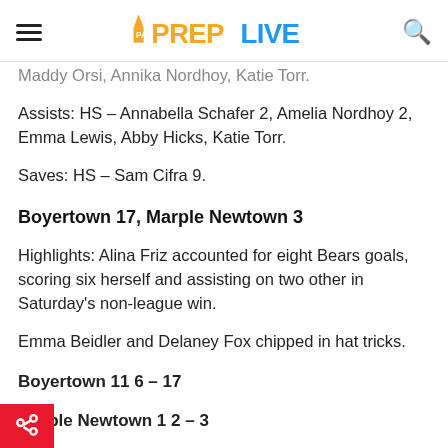PA PREP LIVE
Maddy Orsi, Annika Nordhoy, Katie Torr.
Assists: HS – Annabella Schafer 2, Amelia Nordhoy 2, Emma Lewis, Abby Hicks, Katie Torr.
Saves: HS – Sam Cifra 9.
Boyertown 17, Marple Newtown 3
Highlights: Alina Friz accounted for eight Bears goals, scoring six herself and assisting on two other in Saturday's non-league win.
Emma Beidler and Delaney Fox chipped in hat tricks.
Boyertown 11 6 – 17
Marple Newtown 1 2 – 3